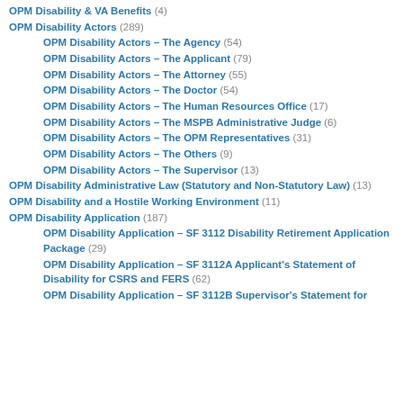OPM Disability & VA Benefits (4)
OPM Disability Actors (289)
OPM Disability Actors – The Agency (54)
OPM Disability Actors – The Applicant (79)
OPM Disability Actors – The Attorney (55)
OPM Disability Actors – The Doctor (54)
OPM Disability Actors – The Human Resources Office (17)
OPM Disability Actors – The MSPB Administrative Judge (6)
OPM Disability Actors – The OPM Representatives (31)
OPM Disability Actors – The Others (9)
OPM Disability Actors – The Supervisor (13)
OPM Disability Administrative Law (Statutory and Non-Statutory Law) (13)
OPM Disability and a Hostile Working Environment (11)
OPM Disability Application (187)
OPM Disability Application – SF 3112 Disability Retirement Application Package (29)
OPM Disability Application – SF 3112A Applicant's Statement of Disability for CSRS and FERS (62)
OPM Disability Application – SF 3112B Supervisor's Statement for